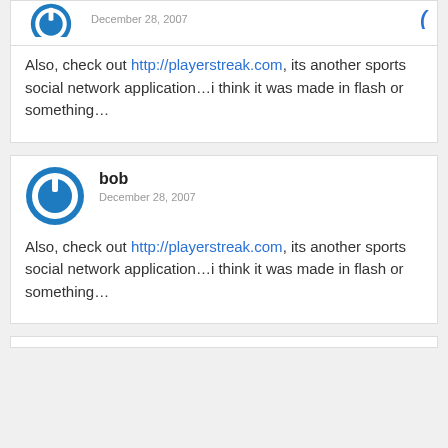[Figure (illustration): Partial avatar icon (blue circle with white power symbol) cropped at top of page, with date December 28, 2007 and a blue loading spinner icon]
Also, check out http://playerstreak.com, its another sports social network application…i think it was made in flash or something…
[Figure (illustration): Avatar icon: blue circle with white power symbol ring inside, user name 'bob', date December 28, 2007]
Also, check out http://playerstreak.com, its another sports social network application…i think it was made in flash or something…